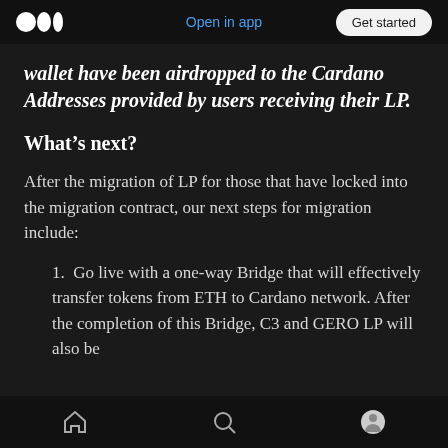Medium logo | Open in app | Get started
wallet have been airdropped to the Cardano Addresses provided by users receiving their LP.
What’s next?
After the migration of LP for those that have locked into the migration contract, our next steps for migration include:
1. Go live with a one-way Bridge that will effectively transfer tokens from ETH to Cardano network. After the completion of this Bridge, C3 and GERO LP will also be
Home | Search | Profile